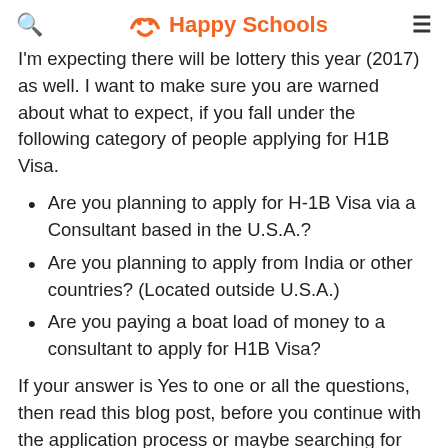Happy Schools
I'm expecting there will be lottery this year (2017) as well. I want to make sure you are warned about what to expect, if you fall under the following category of people applying for H1B Visa.
Are you planning to apply for H-1B Visa via a Consultant based in the U.S.A.?
Are you planning to apply from India or other countries? (Located outside U.S.A.)
Are you paying a boat load of money to a consultant to apply for H1B Visa?
If your answer is Yes to one or all the questions, then read this blog post, before you continue with the application process or maybe searching for